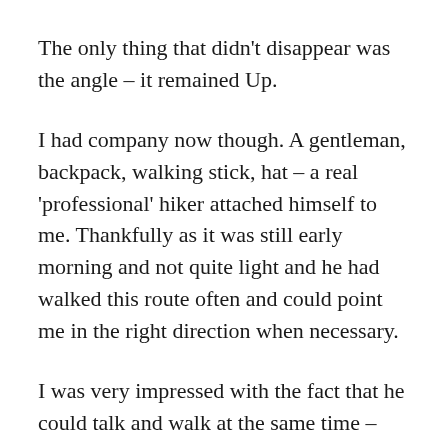The only thing that didn't disappear was the angle – it remained Up.
I had company now though. A gentleman, backpack, walking stick, hat – a real 'professional' hiker attached himself to me. Thankfully as it was still early morning and not quite light and he had walked this route often and could point me in the right direction when necessary.
I was very impressed with the fact that he could talk and walk at the same time – something I most certainly could not do – and talk he did (and wave his walking stick- often dangerously close to my face as I clambered up rocks behind